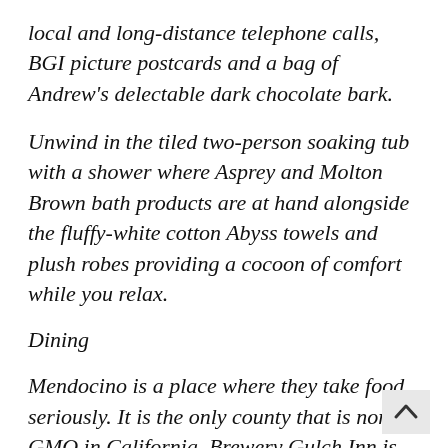local and long-distance telephone calls, BGI picture postcards and a bag of Andrew's delectable dark chocolate bark.
Unwind in the tiled two-person soaking tub with a shower where Asprey and Molton Brown bath products are at hand alongside the fluffy-white cotton Abyss towels and plush robes providing a cocoon of comfort while you relax.
Dining
Mendocino is a place where they take food seriously. It is the only county that is non-GMO in California. Brewery Gulch Inn is proud to carry on this tradition by harvesting from their Heritage Garden, in